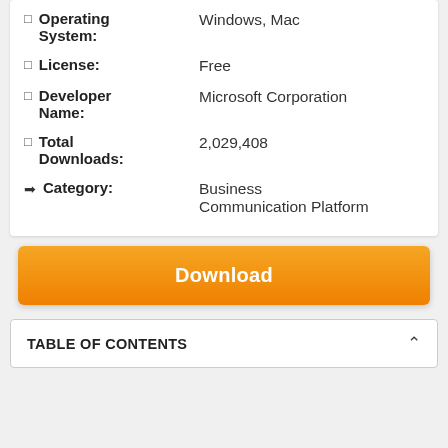Operating System: Windows, Mac
License: Free
Developer Name: Microsoft Corporation
Total Downloads: 2,029,408
Category: Business Communication Platform
Download
TABLE OF CONTENTS